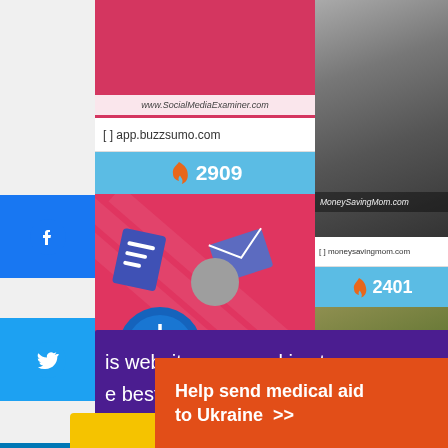[Figure (screenshot): Screenshot of a website (BuzzSumo app) showing social sharing analytics with sidebar social share buttons (Facebook, Twitter, LinkedIn, Pinterest, plus), content cards with share counts (2909, 2401), and overlaid cookie consent popup (purple banner: 'This website uses cookies to ensure you get the best experience on our website', 'Learn more' link, yellow Dismiss button), plus bottom orange ad banner 'Help send medical aid to Ukraine' with DirectRelief logo.]